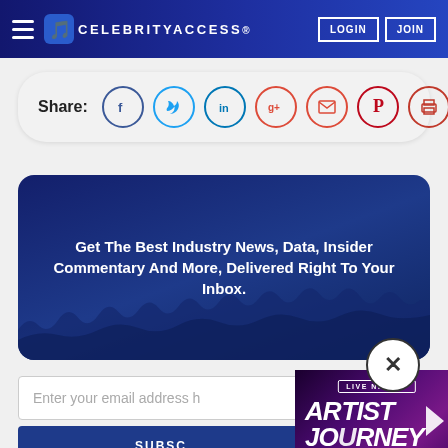CelebrityAccess – LOGIN | JOIN
Share: [Facebook] [Twitter] [LinkedIn] [Google+] [Email] [Pinterest] [Print]
Get The Best Industry News, Data, Insider Commentary And More, Delivered Right To Your Inbox.
Enter your email address here
SUBSCRIBE
[Figure (screenshot): Live Nation Artist Journey – Jonas Brothers ad overlay]